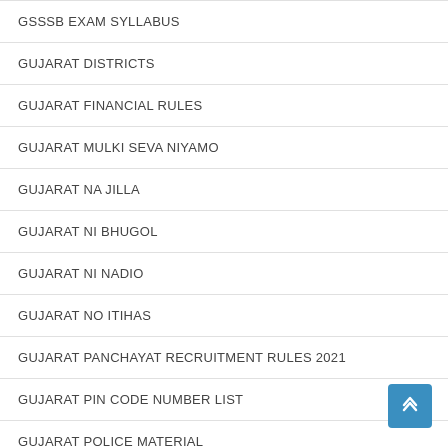GSSSB EXAM SYLLABUS
GUJARAT DISTRICTS
GUJARAT FINANCIAL RULES
GUJARAT MULKI SEVA NIYAMO
GUJARAT NA JILLA
GUJARAT NI BHUGOL
GUJARAT NI NADIO
GUJARAT NO ITIHAS
GUJARAT PANCHAYAT RECRUITMENT RULES 2021
GUJARAT PIN CODE NUMBER LIST
GUJARAT POLICE MATERIAL
GUJARAT RIVERS
GUJARAT STATE SERVICE RULES